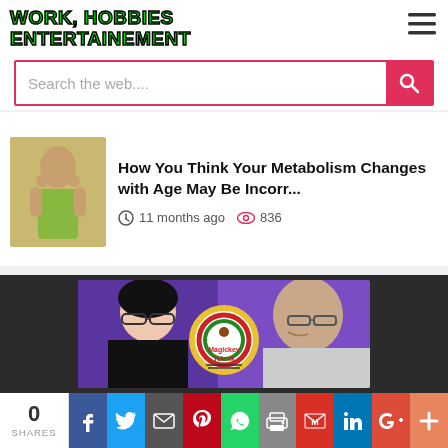[Figure (logo): WORK, HOBBIES ENTERTAINEMENT logo in green with black outline]
[Figure (screenshot): Hamburger menu icon (three horizontal lines)]
[Figure (screenshot): Search bar with placeholder 'Search the web....' and pink search button]
How You Think Your Metabolism Changes with Age May Be Incorr...
11 months ago  836
[Figure (photo): Magickey Teknik banner with two people and colorful circular logo]
[Figure (infographic): Social share bar with 0 SHARES and social media icons: Facebook, Twitter, Email, Pinterest, WhatsApp, Print, Gmail, LinkedIn, Google+, Plus]